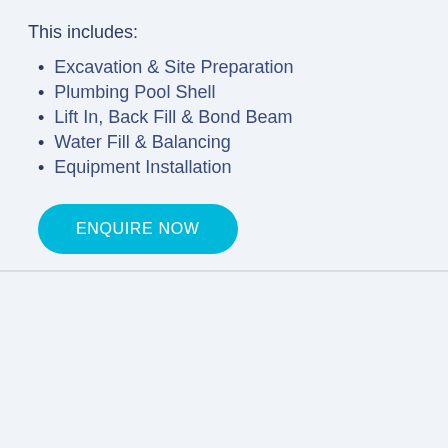This includes:
Excavation & Site Preparation
Plumbing Pool Shell
Lift In, Back Fill & Bond Beam
Water Fill & Balancing
Equipment Installation
ENQUIRE NOW